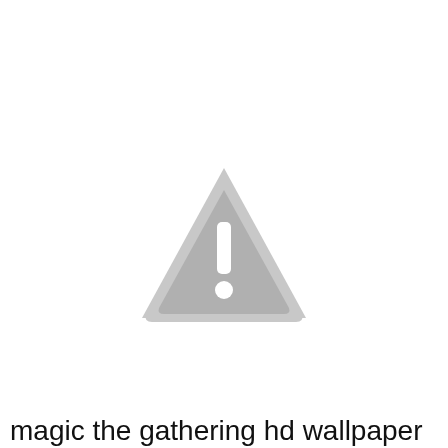[Figure (illustration): A gray warning triangle icon with a white exclamation mark inside, centered on the page.]
magic the gathering hd wallpaper